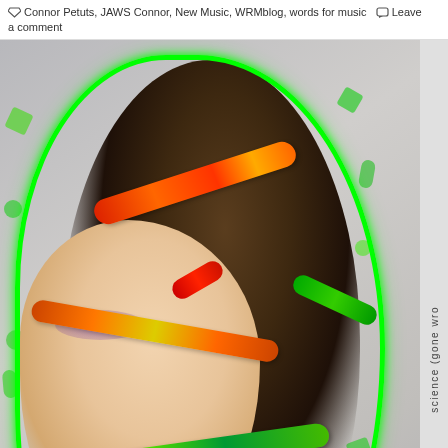Connor Petuts, JAWS Connor, New Music, WRMblog, words for music  Leave a comment
[Figure (photo): Close-up artistic photo of a woman with colorful gummy worms (orange/red/green) draped around her face and head, with a neon green glowing outline around her. The background is light gray with green candy/confetti shapes scattered around. She has dramatic eye makeup and a teal earring.]
science (gone wro
Advertisements
[Figure (screenshot): DuckDuckGo advertisement banner on an orange/terracotta background. Left side shows white bold text: 'Search, browse, and email with more privacy.' with a white button 'All in One Free App'. Right side shows a dark smartphone with the DuckDuckGo logo and text 'DuckDuckGo.']